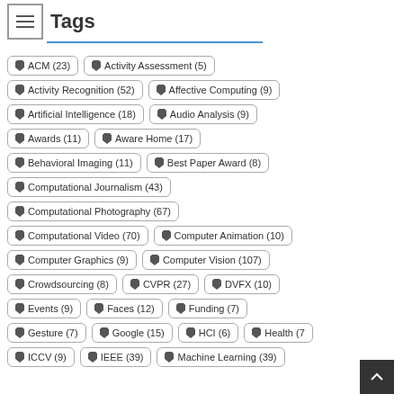Tags
ACM (23)
Activity Assessment (5)
Activity Recognition (52)
Affective Computing (9)
Artificial Intelligence (18)
Audio Analysis (9)
Awards (11)
Aware Home (17)
Behavioral Imaging (11)
Best Paper Award (8)
Computational Journalism (43)
Computational Photography (67)
Computational Video (70)
Computer Animation (10)
Computer Graphics (9)
Computer Vision (107)
Crowdsourcing (8)
CVPR (27)
DVFX (10)
Events (9)
Faces (12)
Funding (7)
Gesture (7)
Google (15)
HCI (6)
Health (7)
ICCV (?)
IEEE (39)
Machine Learning (39)